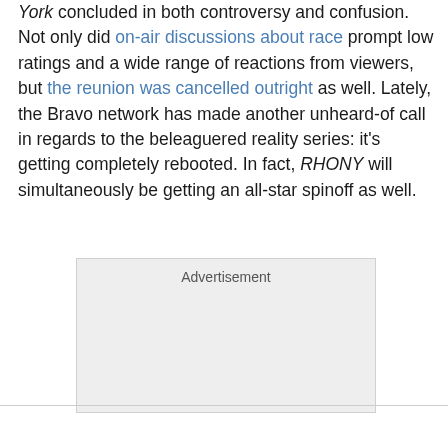York concluded in both controversy and confusion. Not only did on-air discussions about race prompt low ratings and a wide range of reactions from viewers, but the reunion was cancelled outright as well. Lately, the Bravo network has made another unheard-of call in regards to the beleaguered reality series: it's getting completely rebooted. In fact, RHONY will simultaneously be getting an all-star spinoff as well.
[Figure (other): Advertisement placeholder box with light grey background]